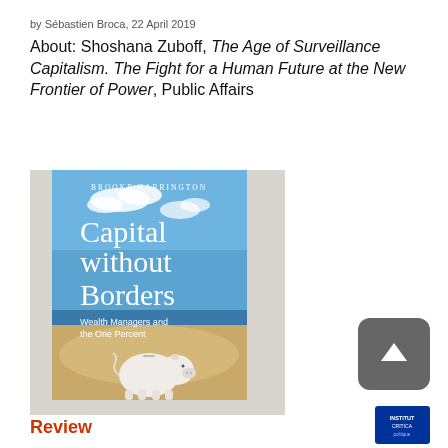by Sébastien Broca, 22 April 2019
About: Shoshana Zuboff, The Age of Surveillance Capitalism. The Fight for a Human Future at the New Frontier of Power, Public Affairs
[Figure (illustration): Book cover of 'Capital without Borders: Wealth Managers and the One Percent' by Brooke Harrington, showing a blue sky with clouds over a beach, with a white piggy bank sitting on sand in the foreground.]
Review